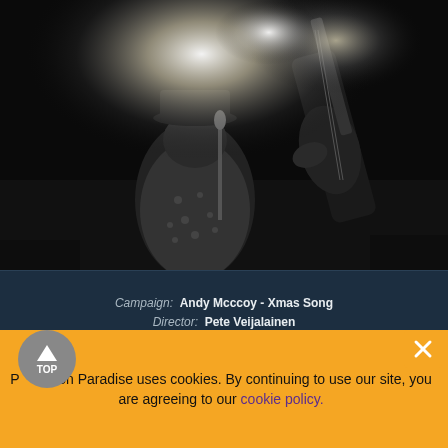[Figure (photo): Black and white concert photo of a guitarist (Andy Mcccoy) performing on stage under bright stage lights, wearing a patterned shirt and holding a guitar]
Campaign: Andy Mcccoy - Xmas Song
Director: Pete Veijalainen
Executive Production: Vesa Salmi / Popagenda
Editor: Pekka Virtanen
Colour Grading: Petri Falkenberg / Grade One Oy
Camera operator: Anton Stennabb
[Figure (photo): Dark concert/event photo partially visible at bottom of page]
Production Paradise uses cookies. By continuing to use our site, you are agreeing to our cookie policy.